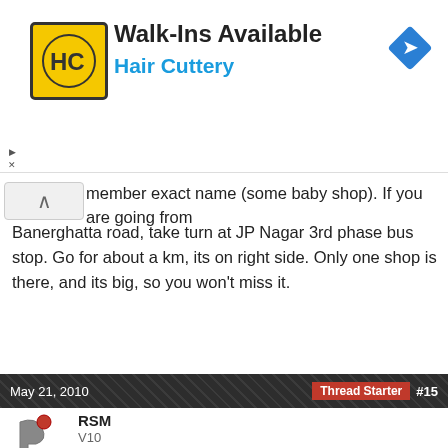[Figure (logo): Hair Cuttery advertisement banner with HC logo, 'Walk-Ins Available' text, 'Hair Cuttery' subtitle in blue, and a blue diamond navigation icon]
member exact name (some baby shop). If you are going from Banerghatta road, take turn at JP Nagar 3rd phase bus stop. Go for about a km, its on right side. Only one shop is there, and its big, so you won't miss it.
May 21, 2010   Thread Starter  #15
RSM
V10
RSM said: ↑
FIRST CLASS PLUS - Car Seats - BRITAX.